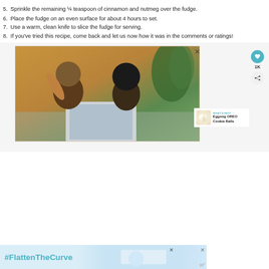5. Sprinkle the remaining ¼ teaspoon of cinnamon and nutmeg over the fudge.
6. Place the fudge on an even surface for about 4 hours to set.
7. Use a warm, clean knife to slice the fudge for serving.
8. If you've tried this recipe, come back and let us now how it was in the comments or ratings!
[Figure (photo): A man and a young girl sitting on a couch, waving at a laptop screen. There is a green plant in the background.]
[Figure (photo): Advertisement banner with #FlattenTheCurve text and an image of hands washing.]
WHAT'S NEXT → Eggnog OREO Cookie Balls
1K